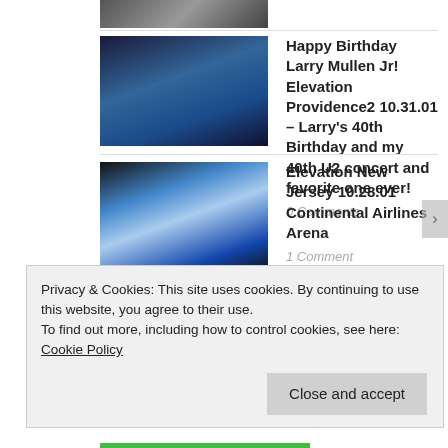[Figure (photo): Partial thumbnail of concert photo at top]
Happy Birthday Larry Mullen Jr! Elevation Providence2 10.31.01 – Larry's 40th Birthday and my 40th U2 concert and favorite one ever!
0 Comments
[Figure (photo): Concert performer with bright stage light]
Elevation New Jersey 10.28.01 Continental Airlines Arena
1 Comment
[Figure (photo): Concert performer with American flag, colorful stage lights]
Elevation NYC October 24, 25, 27, 2001 Madison Square Garden
0 Comments
Privacy & Cookies: This site uses cookies. By continuing to use this website, you agree to their use.
To find out more, including how to control cookies, see here: Cookie Policy